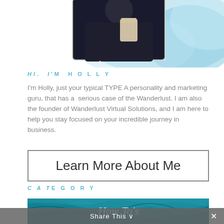[Figure (photo): Top portion of a webpage showing a teal watercolor blob background with a photo of a person holding a drink, partially cropped at the top]
HI. I'M HOLLY
I'm Holly, just your typical TYPE A personality and marketing guru, that has a serious case of the Wanderlust. I am also the founder of Wanderlust Virtual Solutions, and I am here to help you stay focused on your incredible journey in business.
Learn More About Me
CATEGORY
[Figure (screenshot): How To's category banner with teal marble/fluid art background]
Share This